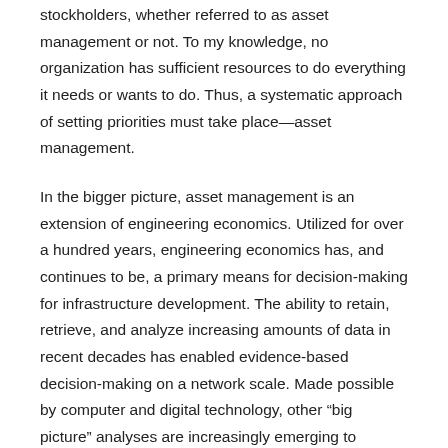stockholders, whether referred to as asset management or not. To my knowledge, no organization has sufficient resources to do everything it needs or wants to do. Thus, a systematic approach of setting priorities must take place—asset management.
In the bigger picture, asset management is an extension of engineering economics. Utilized for over a hundred years, engineering economics has, and continues to be, a primary means for decision-making for infrastructure development. The ability to retain, retrieve, and analyze increasing amounts of data in recent decades has enabled evidence-based decision-making on a network scale. Made possible by computer and digital technology, other “big picture” analyses are increasingly emerging to include the discipline of sustainability that facilitates decision-making between economic, social and environmental realms.